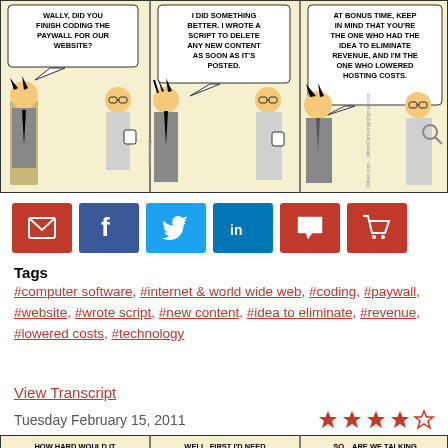[Figure (illustration): Dilbert comic strip with three panels. Panel 1: Boss asks 'WALLY, DID YOU FINISH CODING THE PAYWALL FOR OUR WEBSITE?' Panel 2: Wally replies 'I DID SOMETHING BETTER. I WROTE A SCRIPT TO DELETE ANY NEW CONTENT AS SOON AS IT'S POSTED.' Panel 3: Boss says 'AT BONUS TIME, KEEP IN MIND THAT YOU'RE THE ONE WHO HAD THE IDEA TO ELIMINATE REVENUE, AND I'M THE ONE WHO LOWERED HOSTING COSTS.']
[Figure (infographic): Social sharing buttons: email (red), Facebook (dark blue), Twitter (light blue), LinkedIn (blue), comment (red), cart/shop (red)]
Tags
#computer software, #internet & world wide web, #coding, #paywall, #website, #wrote script, #new content, #idea to eliminate, #revenue, #lowered costs, #technology
View Transcript
Tuesday February 15, 2011
[Figure (illustration): Partial Dilbert comic strip showing three panels cropped: 'HOW HARD WOULD IT BE TO PROGRAM OUR...' / 'WELL, FIRST I'D NEED TO INVENT SOME SORT...' / 'SO... ARE WE TALKING']